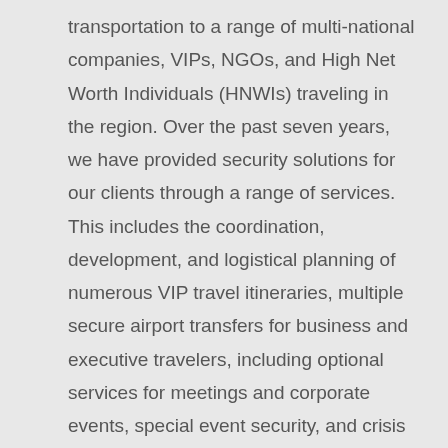transportation to a range of multi-national companies, VIPs, NGOs, and High Net Worth Individuals (HNWIs) traveling in the region. Over the past seven years, we have provided security solutions for our clients through a range of services. This includes the coordination, development, and logistical planning of numerous VIP travel itineraries, multiple secure airport transfers for business and executive travelers, including optional services for meetings and corporate events, special event security, and crisis risk management.
In 2015 ETC...